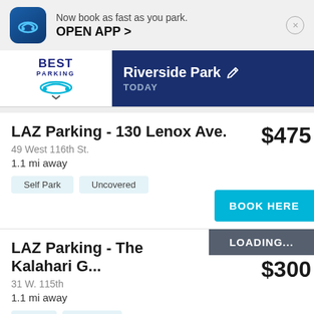[Figure (screenshot): App advertisement banner with blue car icon. Text: 'Now book as fast as you park. OPEN APP >']
[Figure (logo): Best Parking logo with car icon and dropdown arrow]
Riverside Park TODAY
LAZ Parking - 130 Lenox Ave.
49 West 116th St.
1.1 mi away
Self Park    Uncovered
$475
BOOK HERE
LAZ Parking - The Kalahari G...
31 W. 115th
1.1 mi away
Valet    Covered
LOADING... $300